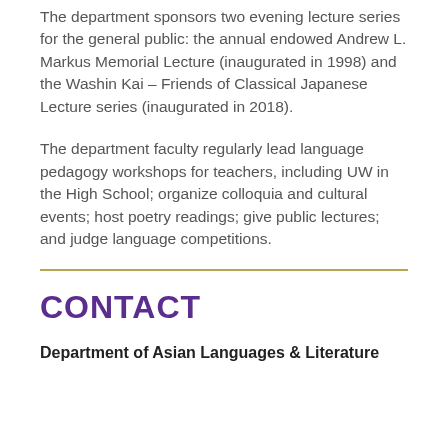The department sponsors two evening lecture series for the general public: the annual endowed Andrew L. Markus Memorial Lecture (inaugurated in 1998) and the Washin Kai – Friends of Classical Japanese Lecture series (inaugurated in 2018).
The department faculty regularly lead language pedagogy workshops for teachers, including UW in the High School; organize colloquia and cultural events; host poetry readings; give public lectures; and judge language competitions.
CONTACT
Department of Asian Languages & Literature